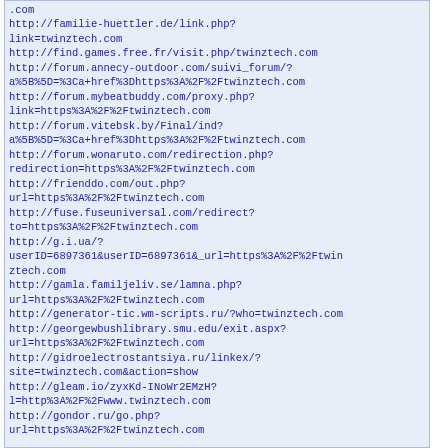.com
http://familie-huettler.de/link.php?link=twinztech.com
http://find.games.free.fr/visit.php/twinztech.com
http://forum.annecy-outdoor.com/suivi_forum/?a%5B%5D=%3Ca+href%3Dhttps%3A%2F%2Ftwinztech.com
http://forum.mybeatbuddy.com/proxy.php?link=https%3A%2F%2Ftwinztech.com
http://forum.vitebsk.by/Final/ind?a%5B%5D=%3Ca+href%3Dhttps%3A%2F%2Ftwinztech.com
http://forum.wonaruto.com/redirection.php?redirection=https%3A%2F%2Ftwinztech.com
http://frienddo.com/out.php?url=https%3A%2F%2Ftwinztech.com
http://fuse.fuseuniversal.com/redirect?to=https%3A%2F%2Ftwinztech.com
http://g.i.ua/?userID=6897361&userID=6897361&_url=https%3A%2F%2Ftwinztech.com
http://gamla.familjeliv.se/lamna.php?url=https%3A%2F%2Ftwinztech.com
http://generator-tic.wm-scripts.ru/?who=twinztech.com
http://georgewbushlibrary.smu.edu/exit.aspx?url=https%3A%2F%2Ftwinztech.com
http://gidroelectrostantsiya.ru/linkex/?site=twinztech.com&action=show
http://gleam.io/zyxKd-INoWr2EMzH?l=http%3A%2F%2Fwww.twinztech.com
http://gondor.ru/go.php?url=https%3A%2F%2Ftwinztech.com